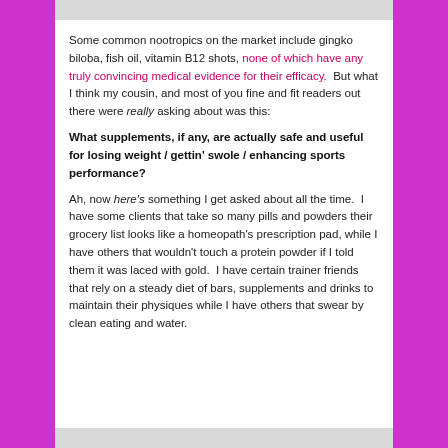Some common nootropics on the market include gingko biloba, fish oil, vitamin B12 shots, none of which have any truly convincing medical evidence for their efficacy.  But what I think my cousin, and most of you fine and fit readers out there were really asking about was this:
What supplements, if any, are actually safe and useful for losing weight / gettin' swole / enhancing sports performance?
Ah, now here's something I get asked about all the time.  I have some clients that take so many pills and powders their grocery list looks like a homeopath's prescription pad, while I have others that wouldn't touch a protein powder if I told them it was laced with gold.  I have certain trainer friends that rely on a steady diet of bars, supplements and drinks to maintain their physiques while I have others that swear by clean eating and water.